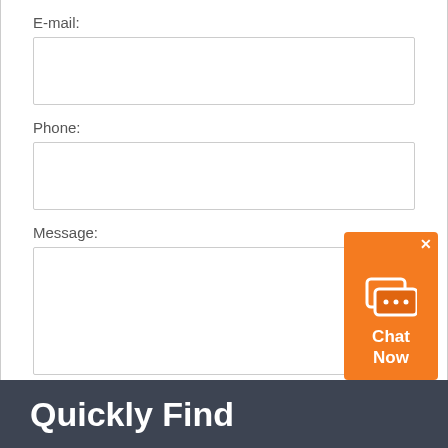E-mail:
Phone:
Message:
Send
Quickly Find
[Figure (screenshot): Chat Now widget with speech bubble icons, orange background, close X button, on the right side of the page]